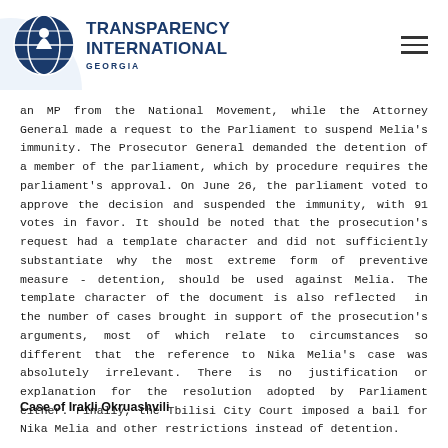Transparency International Georgia
an MP from the National Movement, while the Attorney General made a request to the Parliament to suspend Melia's immunity. The Prosecutor General demanded the detention of a member of the parliament, which by procedure requires the parliament's approval. On June 26, the parliament voted to approve the decision and suspended the immunity, with 91 votes in favor. It should be noted that the prosecution's request had a template character and did not sufficiently substantiate why the most extreme form of preventive measure - detention, should be used against Melia. The template character of the document is also reflected in the number of cases brought in support of the prosecution's arguments, most of which relate to circumstances so different that the reference to Nika Melia's case was absolutely irrelevant. There is no justification or explanation for the resolution adopted by Parliament either. Finally, the Tbilisi City Court imposed a bail for Nika Melia and other restrictions instead of detention.
Case of Irakli Okruashvili